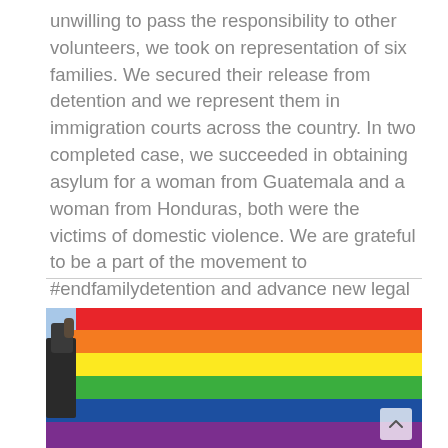unwilling to pass the responsibility to other volunteers, we took on representation of six families. We secured their release from detention and we represent them in immigration courts across the country. In two completed case, we succeeded in obtaining asylum for a woman from Guatemala and a woman from Honduras, both were the victims of domestic violence. We are grateful to be a part of the movement to #endfamilydetention and advance new legal theories to obtain asylum for victims of domestic and gang-based violence.
[Figure (photo): A person holding a rainbow pride flag waving against a light blue sky, viewed from below at an angle.]